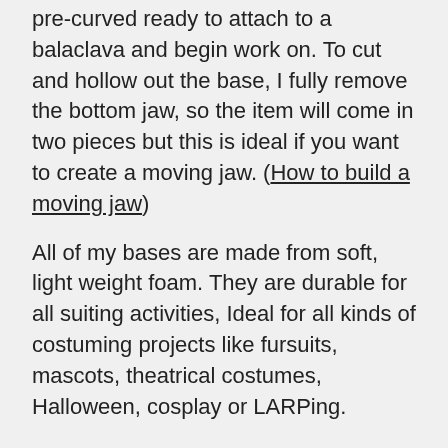pre-curved ready to attach to a balaclava and begin work on. To cut and hollow out the base, I fully remove the bottom jaw, so the item will come in two pieces but this is ideal if you want to create a moving jaw. (How to build a moving jaw)
All of my bases are made from soft, light weight foam. They are durable for all suiting activities, Ideal for all kinds of costuming projects like fursuits, mascots, theatrical costumes, Halloween, cosplay or LARPing.
SIZING
The bases have an open back to allow your build work for all shapes and sizes. For reference, the opening at the back of the base measures at: 9.5